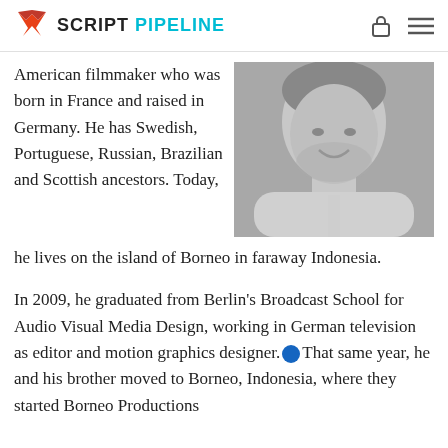SCRIPT PIPELINE
American filmmaker who was born in France and raised in Germany. He has Swedish, Portuguese, Russian, Brazilian and Scottish ancestors. Today, he lives on the island of Borneo in faraway Indonesia.
[Figure (photo): Black and white headshot of a smiling man in a light button-up shirt]
In 2009, he graduated from Berlin's Broadcast School for Audio Visual Media Design, working in German television as editor and motion graphics designer. That same year, he and his brother moved to Borneo, Indonesia, where they started Borneo Productions